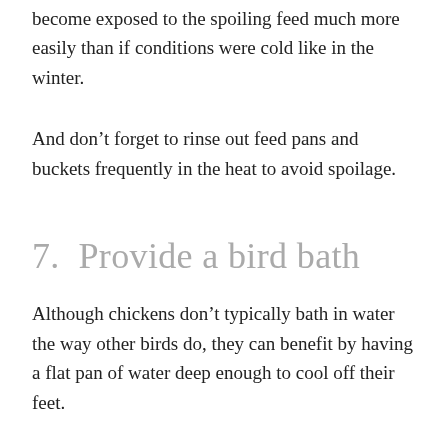become exposed to the spoiling feed much more easily than if conditions were cold like in the winter.
And don’t forget to rinse out feed pans and buckets frequently in the heat to avoid spoilage.
7.  Provide a bird bath
Although chickens don’t typically bath in water the way other birds do, they can benefit by having a flat pan of water deep enough to cool off their feet.